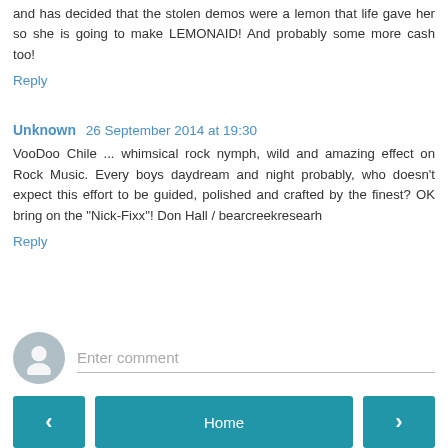and has decided that the stolen demos were a lemon that life gave her so she is going to make LEMONAID! And probably some more cash too!
Reply
Unknown 26 September 2014 at 19:30
VooDoo Chile ... whimsical rock nymph, wild and amazing effect on Rock Music. Every boys daydream and night probably, who doesn't expect this effort to be guided, polished and crafted by the finest? OK bring on the "Nick-Fixx"! Don Hall / bearcreekresearh
Reply
Enter comment
Home